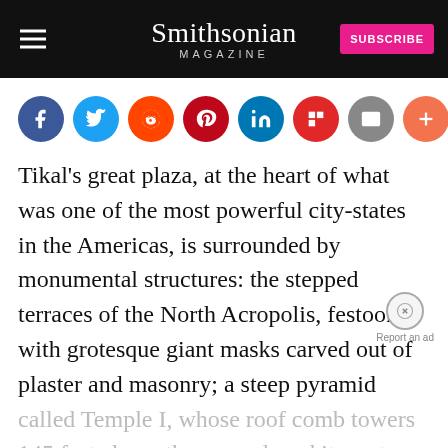Smithsonian Magazine
[Figure (infographic): Social media sharing icons row: Facebook (blue), Twitter (light blue), Reddit (orange-red), Pinterest (dark red), LinkedIn (blue), Flipboard (red), Email (grey), More/Plus (orange)]
Tikal's great plaza, at the heart of what was one of the most powerful city-states in the Americas, is surrounded by monumental structures: the stepped terraces of the North Acropolis, festooned with grotesque giant masks carved out of plaster and masonry; a steep pyramid called Temple I, whose roof comb towers 145 feet above the ground, and its mate across the plaza, TempleII, soaring 125 feet above the